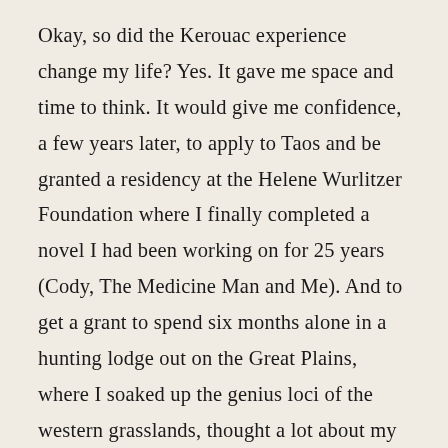Okay, so did the Kerouac experience change my life? Yes. It gave me space and time to think. It would give me confidence, a few years later, to apply to Taos and be granted a residency at the Helene Wurlitzer Foundation where I finally completed a novel I had been working on for 25 years (Cody, The Medicine Man and Me). And to get a grant to spend six months alone in a hunting lodge out on the Great Plains, where I soaked up the genius loci of the western grasslands, thought a lot about my heroine Mari Sandoz and gathered material for what would become The Red House on the Niobrara.